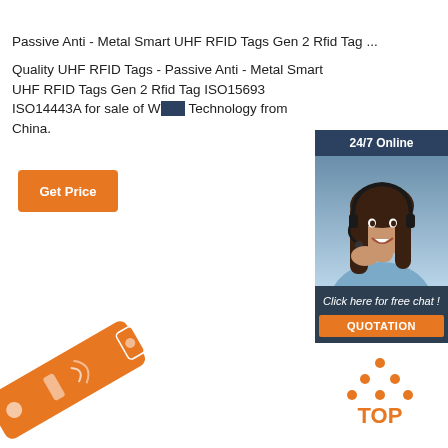Passive Anti - Metal Smart UHF RFID Tags Gen 2 Rfid Tag ...
Quality UHF RFID Tags - Passive Anti - Metal Smart UHF RFID Tags Gen 2 Rfid Tag ISO15693 ISO14443A for sale of W... Technology from China.
[Figure (screenshot): Orange 'Get Price' button]
[Figure (infographic): 24/7 Online chat widget with a woman wearing a headset, 'Click here for free chat!' text, and a QUOTATION orange button]
[Figure (photo): Orange RFID tag at bottom left corner, partially visible and rotated]
[Figure (logo): TOP logo with orange dots arranged in triangle shape above the word TOP in orange]